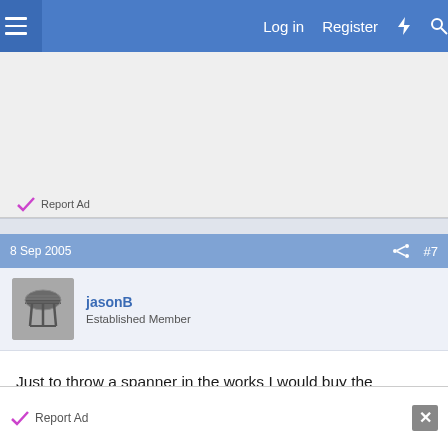Log in  Register
[Figure (other): Advertisement block with Report Ad link]
Report Ad
8 Sep 2005   #7
[Figure (photo): User avatar thumbnail for jasonB showing a small piece of furniture]
jasonB
Established Member
Just to throw a spanner in the works I would buy the carcases, modify as required and concentrate my efforts on the doors & trim etc.
Report Ad